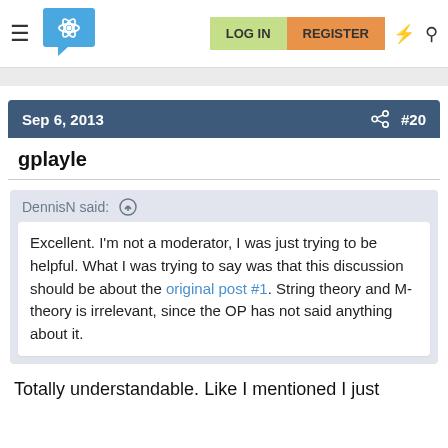LOG IN  REGISTER
Sep 6, 2013  #20
gplayle
DennisN said:
Excellent. I'm not a moderator, I was just trying to be helpful. What I was trying to say was that this discussion should be about the original post #1. String theory and M-theory is irrelevant, since the OP has not said anything about it.
Totally understandable. Like I mentioned I just